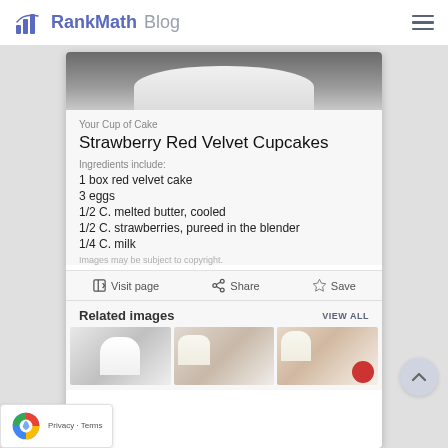RankMath Blog
[Figure (screenshot): Google search result card for Strawberry Red Velvet Cupcakes recipe from Your Cup of Cake, showing ingredients, action buttons (Visit page, Share, Save), related images section, and a reCAPTCHA privacy badge overlay]
Your Cup of Cake
Strawberry Red Velvet Cupcakes
Ingredients include:
1 box red velvet cake
3 eggs
1/2 C. melted butter, cooled
1/2 C. strawberries, pureed in the blender
1/4 C. milk
Images may be subject to copyright.
Visit page   Share   Save
Related images
VIEW ALL
Privacy · Terms